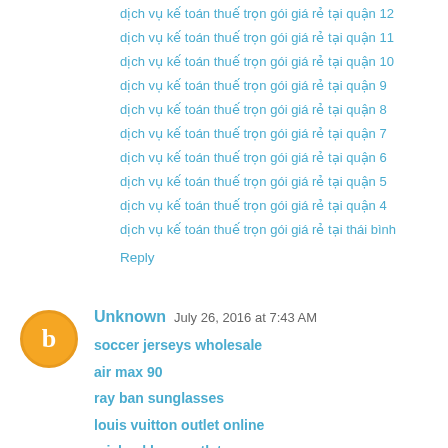dịch vụ kế toán thuế trọn gói giá rẻ tại quận 12
dịch vụ kế toán thuế trọn gói giá rẻ tại quận 11
dịch vụ kế toán thuế trọn gói giá rẻ tại quận 10
dịch vụ kế toán thuế trọn gói giá rẻ tại quận 9
dịch vụ kế toán thuế trọn gói giá rẻ tại quận 8
dịch vụ kế toán thuế trọn gói giá rẻ tại quận 7
dịch vụ kế toán thuế trọn gói giá rẻ tại quận 6
dịch vụ kế toán thuế trọn gói giá rẻ tại quận 5
dịch vụ kế toán thuế trọn gói giá rẻ tại quận 4
dịch vụ kế toán thuế trọn gói giá rẻ tại thái bình
Reply
Unknown   July 26, 2016 at 7:43 AM
soccer jerseys wholesale
air max 90
ray ban sunglasses
louis vuitton outlet online
michael kors outlet
true religion jeans
ray-ban sunglasses